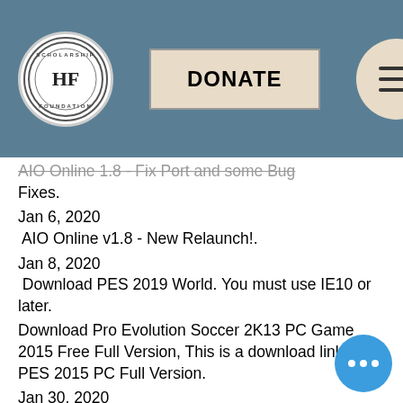HF Foundation website header with DONATE button and menu
AIO Online 1.8 - Fix Port and some Bug Fixes.
Jan 6, 2020
AIO Online v1.8 - New Relaunch!.
Jan 8, 2020
Download PES 2019 World. You must use IE10 or later.
Download Pro Evolution Soccer 2K13 PC Game 2015 Free Full Version, This is a download link for PES 2015 PC Full Version.
Jan 30, 2020
AIO Online 1.9 - new Relaunch.
Mar 26, 2020
AIO Online 2.0 - New Relaunch!
Mar 30, 2020
AIO Online 2.1 - fixed a lot of bug.
Mar 29, 2020